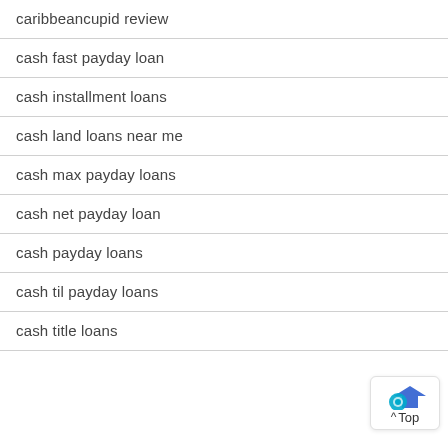caribbeancupid review
cash fast payday loan
cash installment loans
cash land loans near me
cash max payday loans
cash net payday loan
cash payday loans
cash til payday loans
cash title loans